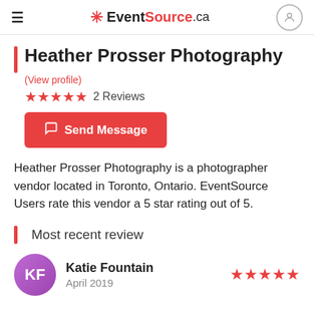EventSource.ca
Heather Prosser Photography
(View profile)
★★★★★ 2 Reviews
Send Message
Heather Prosser Photography is a photographer vendor located in Toronto, Ontario. EventSource Users rate this vendor a 5 star rating out of 5.
Most recent review
KF — Katie Fountain, April 2019 ★★★★★